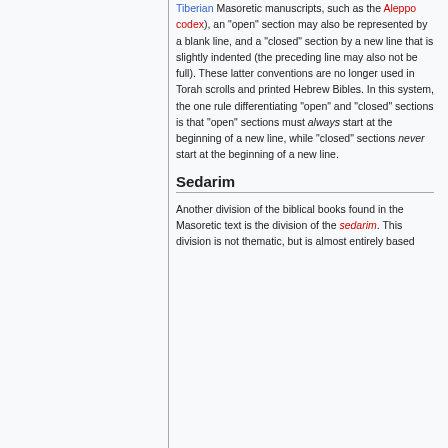Tiberian Masoretic manuscripts, such as the Aleppo codex), an "open" section may also be represented by a blank line, and a "closed" section by a new line that is slightly indented (the preceding line may also not be full). These latter conventions are no longer used in Torah scrolls and printed Hebrew Bibles. In this system, the one rule differentiating "open" and "closed" sections is that "open" sections must always start at the beginning of a new line, while "closed" sections never start at the beginning of a new line.
Sedarim
Another division of the biblical books found in the Masoretic text is the division of the sedarim. This division is not thematic, but is almost entirely based